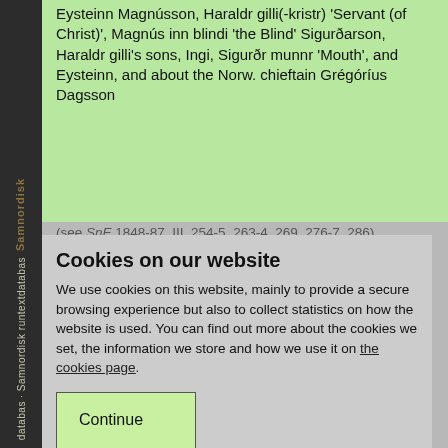Eysteinn Magnússon, Haraldr gilli(-kristr) 'Servant (of Christ)', Magnús inn blindi 'the Blind' Sigurðarson, Haraldr gilli's sons, Ingi, Sigurðr munnr 'Mouth', and Eysteinn, and about the Norw. chieftain Grégóríus Dagson
(see SnE 1848-87, III, 254-5, 263-4, 269, 276-7, 286). According to S... honoured the Norw. m... ur... Jo... S... Jo... son of Svaðor and king S... of D... SnE 1848-87, III, 260, 268-9, 272, 283, 286). About the latter he recited a
Cookies on our website
We use cookies on this website, mainly to provide a secure browsing experience but also to collect statistics on how the website is used. You can find out more about the cookies we set, the information we store and how we use it on the cookies page.
Continue